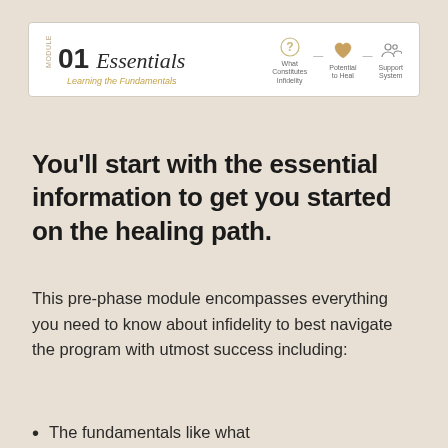[Figure (infographic): Module header banner showing '01 Essentials - Learning the Fundamentals' with navigation steps: What Constitutes Infidelity, Potential to Heal, Support System]
You'll start with the essential information to get you started on the healing path.
This pre-phase module encompasses everything you need to know about infidelity to best navigate the program with utmost success including:
The fundamentals like what